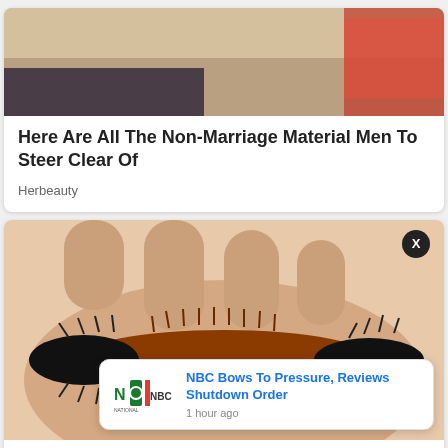[Figure (photo): Partial photo showing a woman in dark clothing near a yellow and red background, cropped at top of page]
Here Are All The Non-Marriage Material Men To Steer Clear Of
Herbeauty
[Figure (photo): Close-up photo of a woolly bear caterpillar (black and brown/orange fuzzy caterpillar) resting on a human palm]
These Anim... rmacies...
Brainberries
[Figure (logo): NBC National Broadcasting Commission logo - green and red letters]